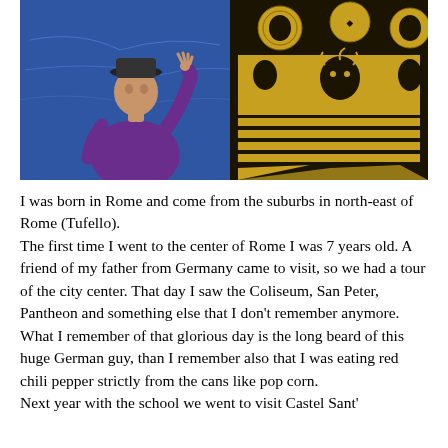[Figure (photo): A man wearing a black hat and purple hoodie gesturing with his right hand raised, standing in front of a blue world map background on the left and a large black and yellow ancient Greek-style vase or artifact with figures on the right.]
I was born in Rome and come from the suburbs in north-east of Rome (Tufello). The first time I went to the center of Rome I was 7 years old. A friend of my father from Germany came to visit, so we had a tour of the city center. That day I saw the Coliseum, San Peter, Pantheon and something else that I don't remember anymore. What I remember of that glorious day is the long beard of this huge German guy, than I remember also that I was eating red chili pepper strictly from the cans like pop corn. Next year with the school we went to visit Castel Sant'